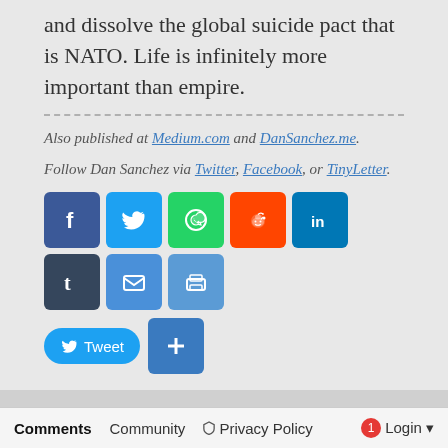and dissolve the global suicide pact that is NATO. Life is infinitely more important than empire.
Also published at Medium.com and DanSanchez.me.
Follow Dan Sanchez via Twitter, Facebook, or TinyLetter.
[Figure (infographic): Row of social media share buttons: Facebook, Twitter, WhatsApp, Reddit, LinkedIn, Tumblr, Email, Print, Tweet button, and a plus/more button]
Previous Post
Hillary's Plan To Combat ISIS Won't Work
Next Post
The Real Reason For Turkey's Shoot-Down Of The Russian Jet
Comments   Community   Privacy Policy   1   Login